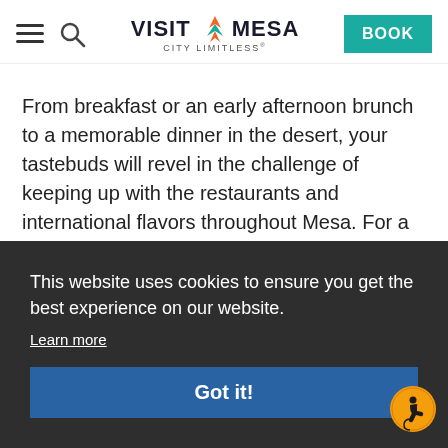[Figure (screenshot): Visit Mesa website header with hamburger menu, search icon, Visit Mesa City Limitless logo with flame icon, and BOOK button in teal]
From breakfast or an early afternoon brunch to a memorable dinner in the desert, your tastebuds will revel in the challenge of keeping up with the restaurants and international flavors throughout Mesa. For a true taste of Mesa, visit the local purveyors, farms, and culinary
This website uses cookies to ensure you get the best experience on our website.
Learn more
Got it!